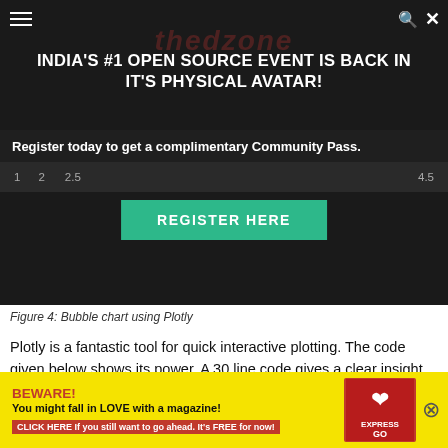[Figure (screenshot): Website banner overlay: dark background with text 'INDIA'S #1 OPEN SOURCE EVENT IS BACK IN IT'S PHYSICAL AVATAR!' and a green REGISTER HERE button, with axis numbers 1, 2, 2.5, 4.5 visible behind the banner]
Figure 4: Bubble chart using Plotly
Plotly is a fantastic tool for quick interactive plotting. The code given below shows its power. A 30 line code gives a clear insight into how COVID-19 spread across countries since its inception. You can experience the interactive part of it at https://www.kaggle.com/dibyendubanerjee/covid19-spread-visualization.
[Figure (screenshot): Code block showing Python import statements: import plotly.express as px, import pandas as pd, import plotly.graph_objects as go, import nu... (partially obscured), url='http...ata/CO (partially obscured), def read (partially obscured)]
[Figure (screenshot): Advertisement overlay: yellow background with red BEWARE! text, 'You might fall in LOVE with a magazine!', red CTA button, heart image, Express GO magazine cover, close button]